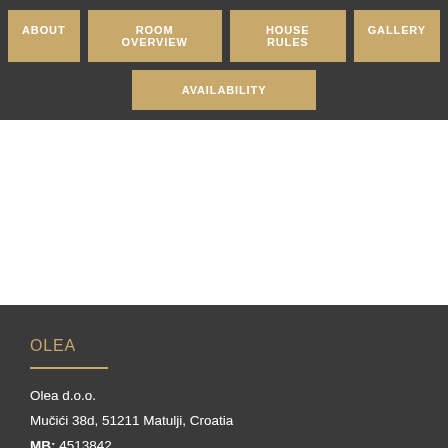ABOUT | ROOM OVERVIEW | HOUSE RULES | GALLERY | AVAILABILITY
OLEA
Olea d.o.o.
Mučići 38d, 51211 Matulji, Croatia
MB: 4513842